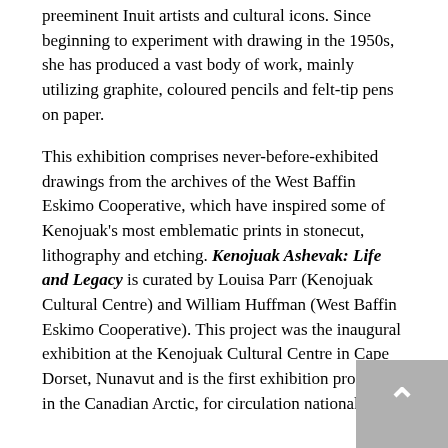preeminent Inuit artists and cultural icons. Since beginning to experiment with drawing in the 1950s, she has produced a vast body of work, mainly utilizing graphite, coloured pencils and felt-tip pens on paper.
This exhibition comprises never-before-exhibited drawings from the archives of the West Baffin Eskimo Cooperative, which have inspired some of Kenojuak's most emblematic prints in stonecut, lithography and etching. Kenojuak Ashevak: Life and Legacy is curated by Louisa Parr (Kenojuak Cultural Centre) and William Huffman (West Baffin Eskimo Cooperative). This project was the inaugural exhibition at the Kenojuak Cultural Centre in Cape Dorset, Nunavut and is the first exhibition produced in the Canadian Arctic, for circulation nationally.